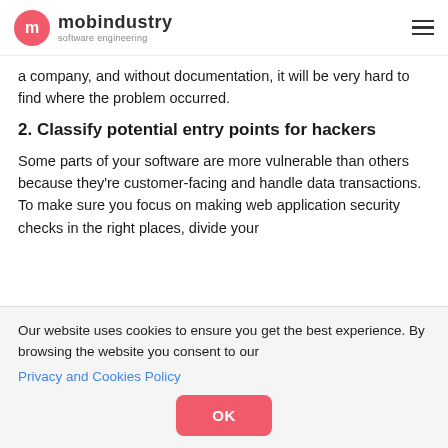mobindustry software engineering
a company, and without documentation, it will be very hard to find where the problem occurred.
2. Classify potential entry points for hackers
Some parts of your software are more vulnerable than others because they're customer-facing and handle data transactions. To make sure you focus on making web application security checks in the right places, divide your
Our website uses cookies to ensure you get the best experience. By browsing the website you consent to our Privacy and Cookies Policy
OK